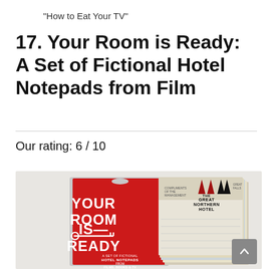“How to Eat Your TV”
17. Your Room is Ready: A Set of Fictional Hotel Notepads from Film
Our rating: 6 / 10
[Figure (photo): Product photo showing a red box labeled 'YOUR ROOM IS READY — A SET OF FICTIONAL HOTEL NOTEPADS FROM FILMS, BOOKS & TV' alongside a stack of multicolored notepads, one of which shows 'THE GREAT NORTHERN HOTEL' branding, on a white/grey background.]